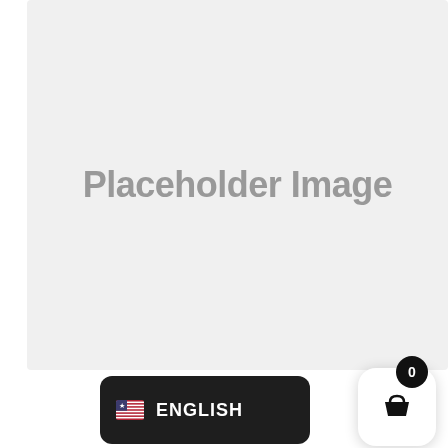[Figure (other): Placeholder image area with light gray background and bold gray 'Placeholder Image' text centered within it]
[Figure (other): Language selector button showing US flag and 'ENGLISH' label on dark rounded rectangle background]
[Figure (other): Shopping cart button: white rounded square with basket icon, and black circular badge showing '0']